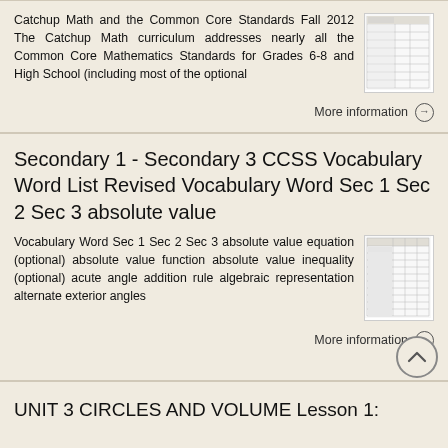Catchup Math and the Common Core Standards Fall 2012 The Catchup Math curriculum addresses nearly all the Common Core Mathematics Standards for Grades 6-8 and High School (including most of the optional
[Figure (table-as-image): Thumbnail of a table document]
More information →
Secondary 1 - Secondary 3 CCSS Vocabulary Word List Revised Vocabulary Word Sec 1 Sec 2 Sec 3 absolute value
Vocabulary Word Sec 1 Sec 2 Sec 3 absolute value equation (optional) absolute value function absolute value inequality (optional) acute angle addition rule algebraic representation alternate exterior angles
[Figure (table-as-image): Thumbnail of a vocabulary list table]
More information →
UNIT 3 CIRCLES AND VOLUME Lesson 1: